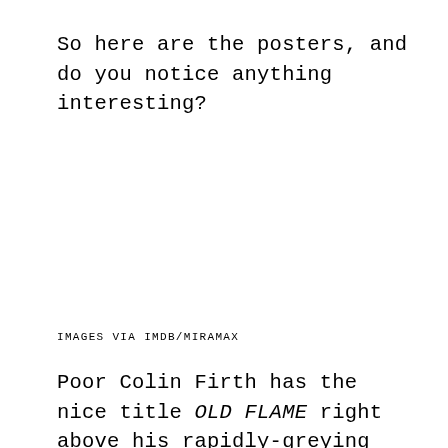So here are the posters, and do you notice anything interesting?
IMAGES VIA IMDB/MIRAMAX
Poor Colin Firth has the nice title OLD FLAME right above his rapidly-greying head. This actually makes me super happy because it's usually a woman who would get the sly nod to